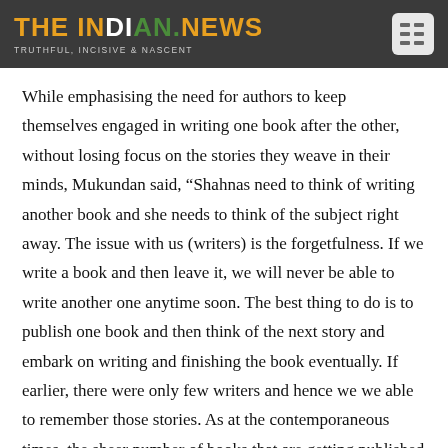THE INDIAN.NEWS — TRUTHFUL, INCISIVE & NASCENT
While emphasising the need for authors to keep themselves engaged in writing one book after the other, without losing focus on the stories they weave in their minds, Mukundan said, “Shahnas need to think of writing another book and she needs to think of the subject right away. The issue with us (writers) is the forgetfulness. If we write a book and then leave it, we will never be able to write another one anytime soon. The best thing to do is to publish one book and then think of the next story and embark on writing and finishing the book eventually. If earlier, there were only few writers and hence we we able to remember those stories. As at the contemporaneous times, the sheer number of books that are getting published are also high, so that remembering each and every story is a cumbersome process.”